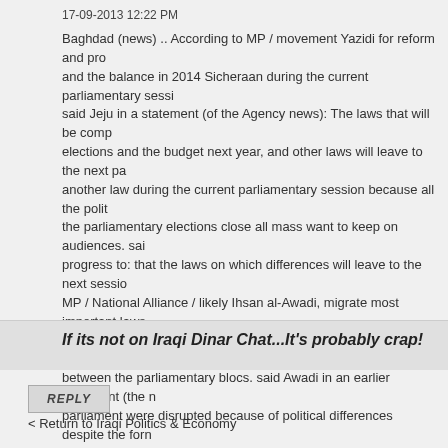17-09-2013 12:22 PM
Baghdad (news) .. According to MP / movement Yazidi for reform and progress and the balance in 2014 Sicheraan during the current parliamentary session said Jeju in a statement (of the Agency news): The laws that will be completed elections and the budget next year, and other laws will leave to the next parliamentary session because all the political the parliamentary elections close all mass want to keep on audiences. said progress to: that the laws on which differences will leave to the next session MP / National Alliance / likely Ihsan al-Awadi, migrate most important laws Representatives to the next parliamentary session for the legislation, because between the parliamentary blocs. said Awadi in an earlier statement (the news parliament were disrupted because of political differences despite the formal all the blocks in order to discuss the laws broken, but It failed to reach satisf
ikhnews.com
If its not on Iraqi Dinar Chat...It's probably crap!
REPLY
< Return to Iraqi Politics & Economy